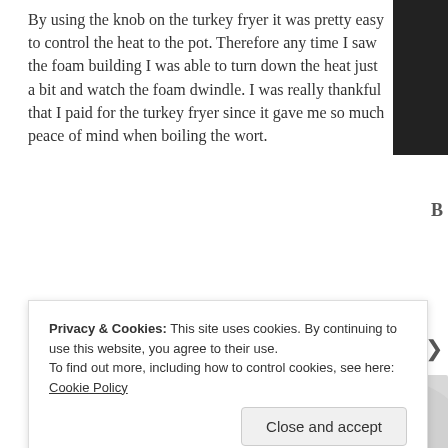By using the knob on the turkey fryer it was pretty easy to control the heat to the pot. Therefore any time I saw the foam building I was able to turn down the heat just a bit and watch the foam dwindle. I was really thankful that I paid for the turkey fryer since it gave me so much peace of mind when boiling the wort.
Here a peek into the pot:
[Figure (photo): Close-up photo of boiling wort in a pot, showing bubbling foam and brown liquid from above.]
Privacy & Cookies: This site uses cookies. By continuing to use this website, you agree to their use.
To find out more, including how to control cookies, see here: Cookie Policy
Close and accept